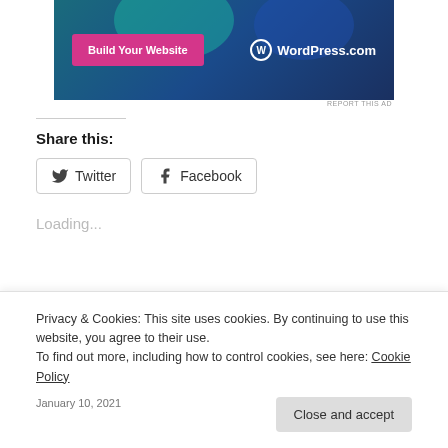[Figure (screenshot): WordPress.com advertisement banner with dark blue/teal gradient background, a pink 'Build Your Website' button on the left, and WordPress.com logo text on the right]
REPORT THIS AD
Share this:
Twitter  Facebook
Loading...
Related
Privacy & Cookies: This site uses cookies. By continuing to use this website, you agree to their use.
To find out more, including how to control cookies, see here: Cookie Policy
Close and accept
January 10, 2021